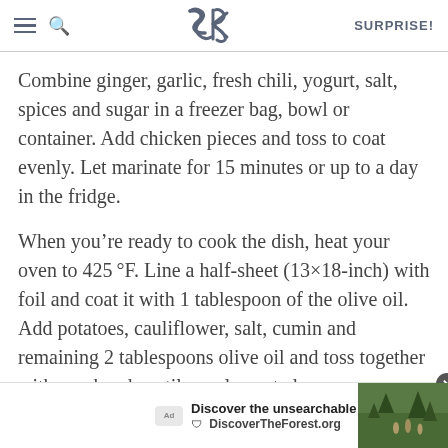SK | SURPRISE!
Combine ginger, garlic, fresh chili, yogurt, salt, spices and sugar in a freezer bag, bowl or container. Add chicken pieces and toss to coat evenly. Let marinate for 15 minutes or up to a day in the fridge.
When you’re ready to cook the dish, heat your oven to 425°F. Line a half-sheet (13×18-inch) with foil and coat it with 1 tablespoon of the olive oil. Add potatoes, cauliflower, salt, cumin and remaining 2 tablespoons olive oil and toss together with you hands until evenly coated.
Remove chicken from marinade and leave excess behind.
[Figure (screenshot): Advertisement banner: Discover the unsearchable / DiscoverTheForest.org with close button and forest photo]